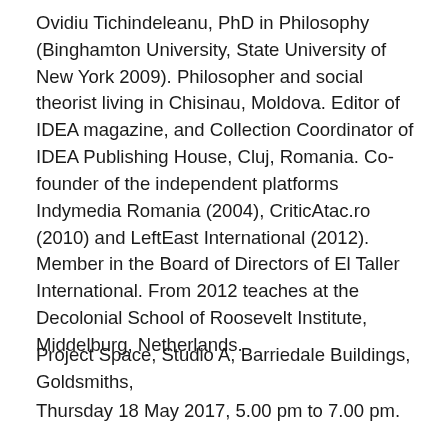Ovidiu Tichindeleanu, PhD in Philosophy (Binghamton University, State University of New York 2009). Philosopher and social theorist living in Chisinau, Moldova. Editor of IDEA magazine, and Collection Coordinator of IDEA Publishing House, Cluj, Romania. Co-founder of the independent platforms Indymedia Romania (2004), CriticAtac.ro (2010) and LeftEast International (2012). Member in the Board of Directors of El Taller International. From 2012 teaches at the Decolonial School of Roosevelt Institute, Middelburg, Netherlands.
Project Space, Studio A, Barriedale Buildings, Goldsmiths,
Thursday 18 May 2017, 5.00 pm to 7.00 pm.